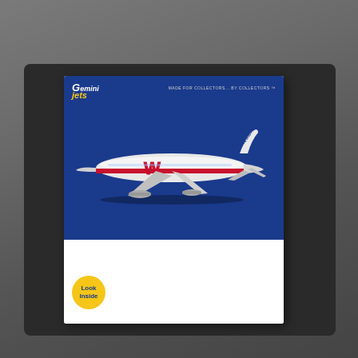[Figure (photo): Photograph of a Gemini Jets 1:400 scale die-cast model aircraft box for Western Airlines Boeing 737-300, placed on a dark surface/laptop. The box has a blue top half showing the airplane with Western livery (red stripe and W logo), and a white bottom half with 'BOEING 737-300' text, 'Western' in large dark blue italic letters, a red triangle in the bottom-left corner with 'Look Inside' badge, and '1:400 SCALE DIE-CAST MODEL AIRCRAFT' text.]